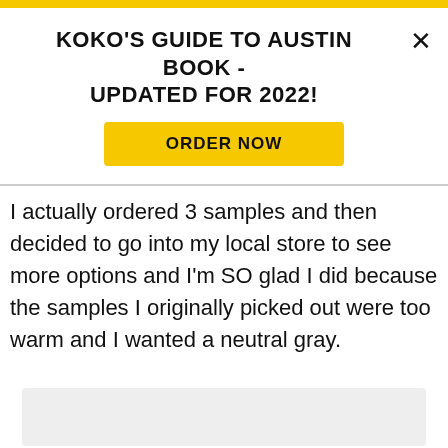KOKO'S GUIDE TO AUSTIN BOOK - UPDATED FOR 2022!
ORDER NOW
I actually ordered 3 samples and then decided to go into my local store to see more options and I'm SO glad I did because the samples I originally picked out were too warm and I wanted a neutral gray.